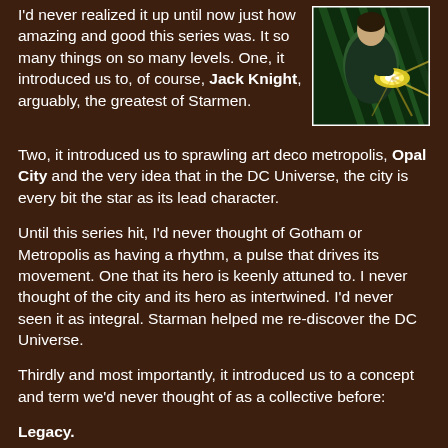I'd never realized it up until now just how amazing and good this series was. It so many things on so many levels. One, it introduced us to, of course, Jack Knight, arguably, the greatest of Starmen.
[Figure (illustration): Comic book illustration showing a figure in green costume holding a glowing yellow cosmic rod, with green energy effects in the background]
Two, it introduced us to sprawling art deco metropolis, Opal City and the very idea that in the DC Universe, the city is every bit the star as its lead character.
Until this series hit, I'd never thought of Gotham or Metropolis as having a rhythm, a pulse that drives its movement. One that its hero is keenly attuned to. I never thought of the city and its hero as intertwined. I'd never seen it as integral. Starman helped me re-discover the DC Universe.
Thirdly and most importantly, it introduced us to a concept and term we'd never thought of as a collective before:
Legacy.